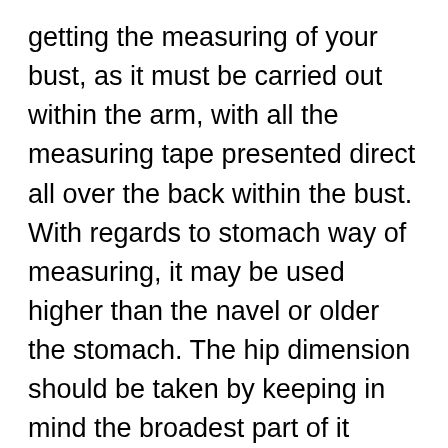getting the measuring of your bust, as it must be carried out within the arm, with all the measuring tape presented direct all over the back within the bust. With regards to stomach way of measuring, it may be used higher than the navel or older the stomach. The hip dimension should be taken by keeping in mind the broadest part of it below the hipbone. Nevertheless, regardless of using thanks proper care, the gown might need some change to match you flawlessly.
The hallow-to-hem measurement is considered to discuss the overall length of the...